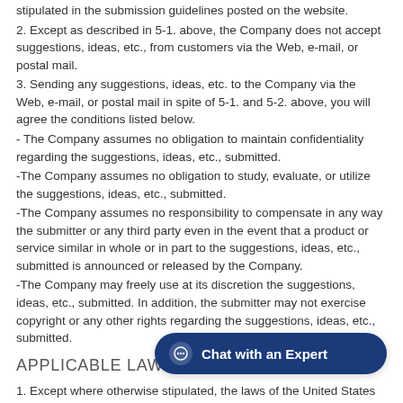stipulated in the submission guidelines posted on the website.
2. Except as described in 5-1. above, the Company does not accept suggestions, ideas, etc., from customers via the Web, e-mail, or postal mail.
3. Sending any suggestions, ideas, etc. to the Company via the Web, e-mail, or postal mail in spite of 5-1. and 5-2. above, you will agree the conditions listed below.
- The Company assumes no obligation to maintain confidentiality regarding the suggestions, ideas, etc., submitted.
-The Company assumes no obligation to study, evaluate, or utilize the suggestions, ideas, etc., submitted.
-The Company assumes no responsibility to compensate in any way the submitter or any third party even in the event that a product or service similar in whole or in part to the suggestions, ideas, etc., submitted is announced or released by the Company.
-The Company may freely use at its discretion the suggestions, ideas, etc., submitted. In addition, the submitter may not exercise copyright or any other rights regarding the suggestions, ideas, etc., submitted.
APPLICABLE LAWS
1. Except where otherwise stipulated, the laws of the United States of America shall apply to the use of the Company website and the implementation of the Terms of Use.